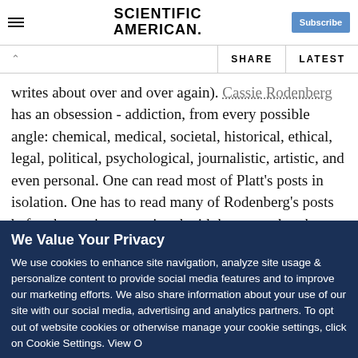SCIENTIFIC AMERICAN
writes about over and over again). Cassie Rodenberg has an obsession - addiction, from every possible angle: chemical, medical, societal, historical, ethical, legal, political, psychological, journalistic, artistic, and even personal. One can read most of Platt's posts in isolation. One has to read many of Rodenberg's posts before becoming acquainted with her enough to be able to, for example, post an appropriate comment
We Value Your Privacy
We use cookies to enhance site navigation, analyze site usage & personalize content to provide social media features and to improve our marketing efforts. We also share information about your use of our site with our social media, advertising and analytics partners. To opt out of website cookies or otherwise manage your cookie settings, click on Cookie Settings. View O